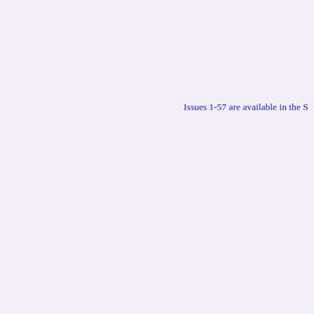Issues 1-57 are available in the S